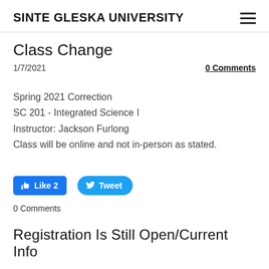SINTE GLESKA UNIVERSITY
Class Change
1/7/2021
0 Comments
Spring 2021 Correction
SC 201 - Integrated Science I
Instructor: Jackson Furlong
Class will be online and not in-person as stated.
[Figure (other): Facebook Like button showing Like 2 and Twitter Tweet button]
0 Comments
Registration Is Still Open/Current Info